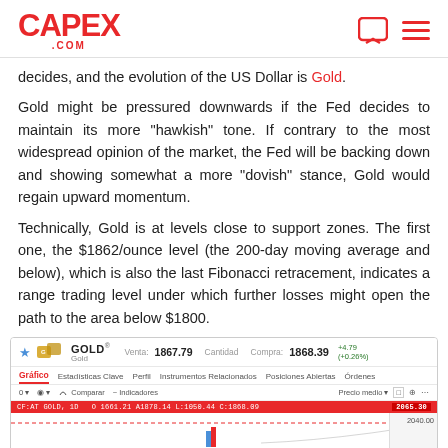CAPEX .COM
decides, and the evolution of the US Dollar is Gold.
Gold might be pressured downwards if the Fed decides to maintain its more "hawkish" tone. If contrary to the most widespread opinion of the market, the Fed will be backing down and showing somewhat a more "dovish" stance, Gold would regain upward momentum.
Technically, Gold is at levels close to support zones. The first one, the $1862/ounce level (the 200-day moving average and below), which is also the last Fibonacci retracement, indicates a range trading level under which further losses might open the path to the area below $1800.
[Figure (screenshot): CAPEX trading platform screenshot showing GOLD chart widget with price 1867.79, close 1868.39 (+4.79, +0.26%), tabs for Gráfico, Estadísticas Clave, Perfil, Instrumentos Relacionados, Posiciones Abiertas, Órdenes, toolbar with Comparar and Indicadores, a red candlestick chart data bar showing CFGOLD,1D O:1661.21 A:1878.14 L:1050.44 C:1868.09, and a partial candlestick chart with price level 2040.00 on the right.]